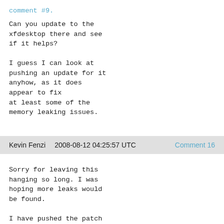comment #9.
Can you update to the xfdesktop there and see if it helps?

I guess I can look at pushing an update for it anyhow, as it does appear to fix at least some of the memory leaking issues.
Kevin Fenzi    2008-08-12 04:25:57 UTC    Comment 16
Sorry for leaving this hanging so long. I was hoping more leaks would be found.

I have pushed the patch we have to rawhide. If it looks ok after a few days, I will look at pushing out to f9/f8.